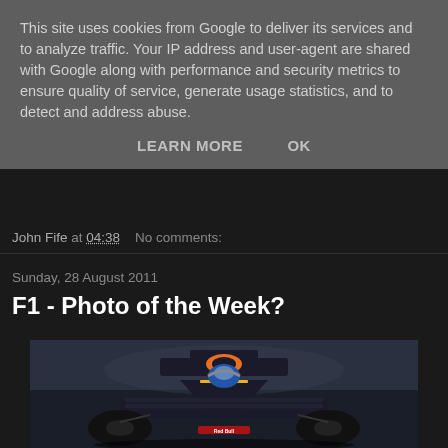This site uses cookies from Google to deliver its services and to analyze traffic. Your IP address and user-agent are shared with Google along with performance and security metrics to ensure quality of service, generate usage statistics, and to detect and address abuse.
LEARN MORE   OK
John Fife at 04:38    No comments:
Sunday, 28 August 2011
F1 - Photo of the Week?
[Figure (photo): Front-on photograph of a Red Bull Formula 1 racing car on track, showing the front wing, nose, and driver helmet, with a blurred dark background]